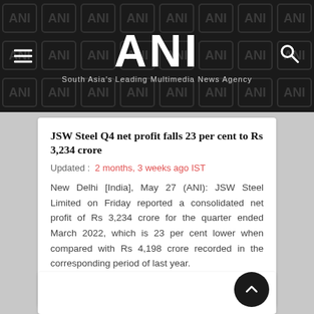ANI – South Asia's Leading Multimedia News Agency
JSW Steel Q4 net profit falls 23 per cent to Rs 3,234 crore
Updated : 2 months, 3 weeks ago IST
New Delhi [India], May 27 (ANI): JSW Steel Limited on Friday reported a consolidated net profit of Rs 3,234 crore for the quarter ended March 2022, which is 23 per cent lower when compared with Rs 4,198 crore recorded in the corresponding period of last year.
Read More